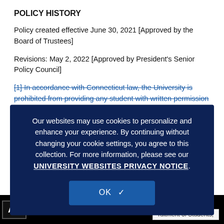POLICY HISTORY
Policy created effective June 30, 2021 [Approved by the Board of Trustees]
Revisions: May 2, 2022 [Approved by President's Senior Policy Council]
[1] In accordance with Connecticut law, the University is prohibited from providing any student with written permission until July 1, 2022.
Posted in A... ...tees Approved Faculty Operations Athletics
Recruitment of Students, Policy On
[Figure (screenshot): Cookie consent modal overlay on dark navy background. Text reads: 'Our websites may use cookies to personalize and enhance your experience. By continuing without changing your cookie settings, you agree to this collection. For more information, please see our UNIVERSITY WEBSITES PRIVACY NOTICE.' with an OK button with checkmark.]
le: ...ruitment of Students,